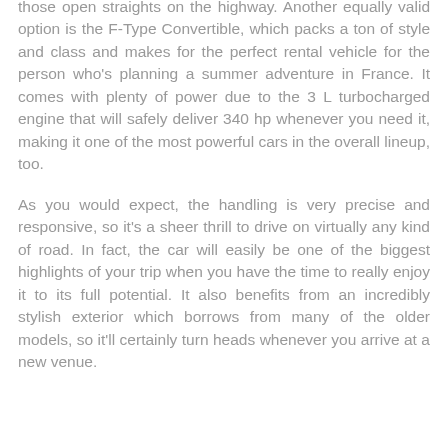those open straights on the highway. Another equally valid option is the F-Type Convertible, which packs a ton of style and class and makes for the perfect rental vehicle for the person who's planning a summer adventure in France. It comes with plenty of power due to the 3 L turbocharged engine that will safely deliver 340 hp whenever you need it, making it one of the most powerful cars in the overall lineup, too.
As you would expect, the handling is very precise and responsive, so it's a sheer thrill to drive on virtually any kind of road. In fact, the car will easily be one of the biggest highlights of your trip when you have the time to really enjoy it to its full potential. It also benefits from an incredibly stylish exterior which borrows from many of the older models, so it'll certainly turn heads whenever you arrive at a new venue.